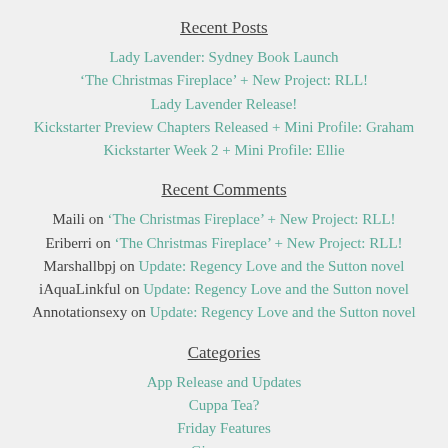Recent Posts
Lady Lavender: Sydney Book Launch
‘The Christmas Fireplace’ + New Project: RLL!
Lady Lavender Release!
Kickstarter Preview Chapters Released + Mini Profile: Graham
Kickstarter Week 2 + Mini Profile: Ellie
Recent Comments
Maili on ‘The Christmas Fireplace’ + New Project: RLL!
Eriberri on ‘The Christmas Fireplace’ + New Project: RLL!
Marshallbpj on Update: Regency Love and the Sutton novel
iAquaLinkful on Update: Regency Love and the Sutton novel
Annotationsexy on Update: Regency Love and the Sutton novel
Categories
App Release and Updates
Cuppa Tea?
Friday Features
Giveaways
Lady Lavender
Sunday Soiree